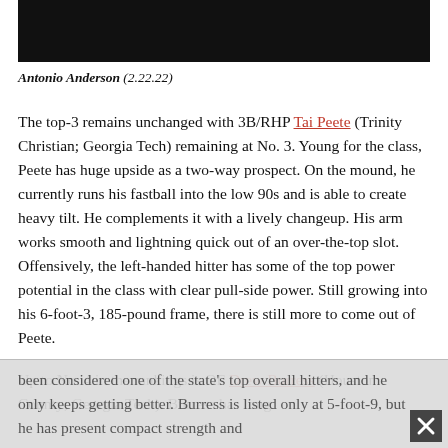[Figure (photo): Black bar image/photo header region]
Antonio Anderson (2.22.22)
The top-3 remains unchanged with 3B/RHP Tai Peete (Trinity Christian; Georgia Tech) remaining at No. 3. Young for the class, Peete has huge upside as a two-way prospect. On the mound, he currently runs his fastball into the low 90s and is able to create heavy tilt. He complements it with a lively changeup. His arm works smooth and lightning quick out of an over-the-top slot. Offensively, the left-handed hitter has some of the top power potential in the class with clear pull-side power. Still growing into his 6-foot-3, 185-pound frame, there is still more to come out of Peete.
Up to No. 4 in the rankings is OF Drew Burress (Houston County; Georgia Tech). Burress has long been considered one of the state's top overall hitters, and he only keeps getting better. Burress is listed only at 5-foot-9, but he has present compact strength and